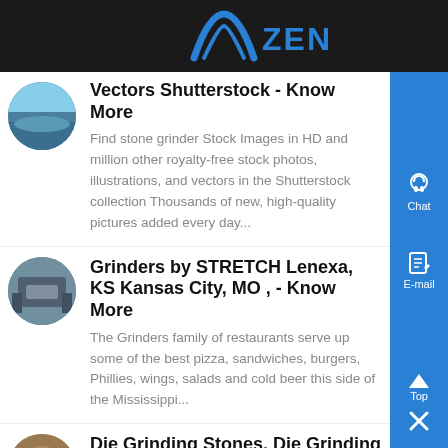ZENIT
[Figure (photo): Small circular thumbnail image of a beach/water scene]
Vectors Shutterstock - Know More
Find stone grinder Stock Images in HD and million other royalty-free stock photos, illustrations, and vectors in the Shutterstock collection Thousands of new, high-quality pictures added every day...
[Figure (photo): Small circular thumbnail image of industrial grinder machinery]
Grinders by STRETCH Lenexa, KS Kansas City, MO , - Know More
The Grinders family of restaurants serve up some of the best pizza, sandwiches, burgers, Phillies, wings, salads and cold beer this side of the Mississippi...
[Figure (photo): Small circular thumbnail image of grinding stones/tools]
Die Grinding Stones, Die Grinding Stones Suppliers and , - Know More